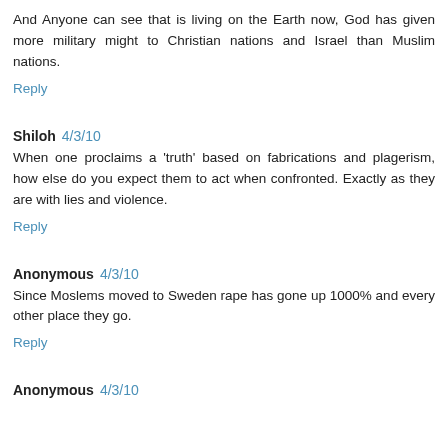And Anyone can see that is living on the Earth now, God has given more military might to Christian nations and Israel than Muslim nations.
Reply
Shiloh  4/3/10
When one proclaims a 'truth' based on fabrications and plagerism, how else do you expect them to act when confronted. Exactly as they are with lies and violence.
Reply
Anonymous  4/3/10
Since Moslems moved to Sweden rape has gone up 1000% and every other place they go.
Reply
Anonymous  4/3/10